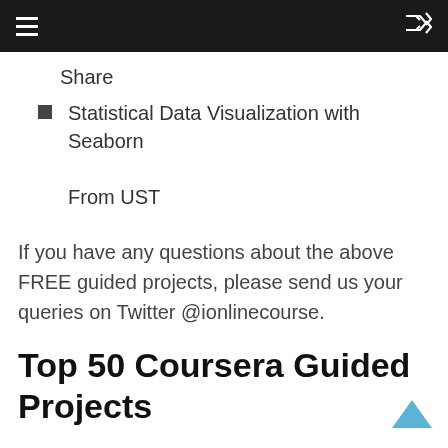Share
Statistical Data Visualization with Seaborn

From UST
If you have any questions about the above FREE guided projects, please send us your queries on Twitter @ionlinecourse.
Top 50 Coursera Guided Projects
The following is the list of trending and popular guided projects on Coursera. Each